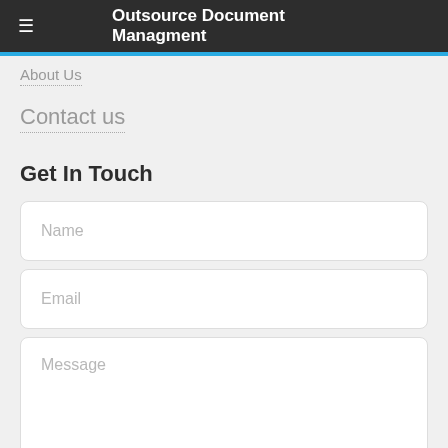Outsource Document Managment
About Us
Contact us
Get In Touch
Name
Email
Message